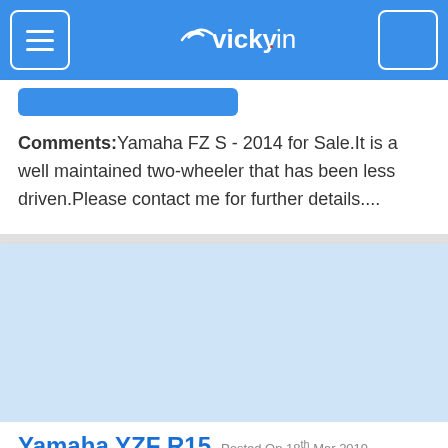vicky.in
Comments: Yamaha FZ S - 2014 for Sale.It is a well maintained two-wheeler that has been less driven.Please contact me for further details....
[Figure (photo): Blue placeholder image area for Yamaha YZF R15 listing]
Yamaha YZF R15 Posted On 18th Mar 2019
Virbhadra, Rishikesh
Individual
35000 Kms
149.00 CC